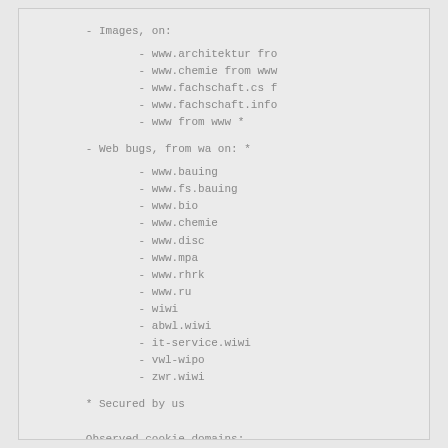- Images, on:
- www.architektur fro
- www.chemie from www
- www.fachschaft.cs f
- www.fachschaft.info
- www from www *
- Web bugs, from wa on: *
- www.bauing
- www.fs.bauing
- www.bio
- www.chemie
- www.disc
- www.mpa
- www.rhrk
- www.ru
- wiwi
- abwl.wiwi
- it-service.wiwi
- vwl-wipo
- zwr.wiwi
* Secured by us
Observed cookie domains: